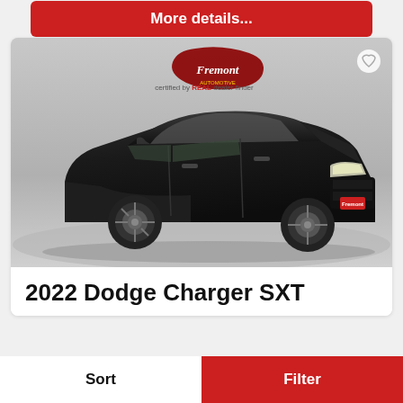More details...
[Figure (photo): Black 2022 Dodge Charger SXT sedan photographed from a front-left angle in a parking lot, with Fremont dealership logo overlay and REAL badge watermark. Heart/favorite icon in top-right corner of image.]
2022 Dodge Charger SXT
Sort
Filter